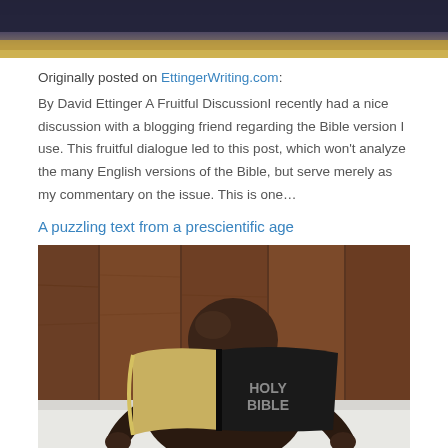[Figure (photo): Top portion of a photo, showing dark blue/black background with golden/yellow strip at bottom]
Originally posted on EttingerWriting.com:
By David Ettinger A Fruitful DiscussionI recently had a nice discussion with a blogging friend regarding the Bible version I use. This fruitful dialogue led to this post, which won't analyze the many English versions of the Bible, but serve merely as my commentary on the issue. This is one…
A puzzling text from a prescientific age
[Figure (photo): A child reading a Holy Bible, face hidden behind the open book, sitting on a white bed with a wooden headboard in the background]